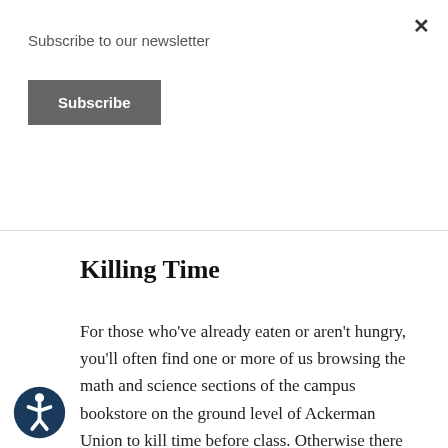Subscribe to our newsletter
Subscribe
Subway, and many others.
Killing Time
For those who've already eaten or aren't hungry, you'll often find one or more of us browsing the math and science sections of the campus bookstore on the ground level of Ackerman Union to kill time before class. Otherwise there are usually a handful of us who arrive a half an hour early and camp out in the classroom itself (though this can